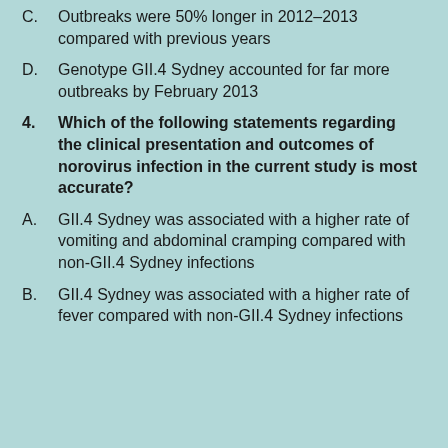C.  Outbreaks were 50% longer in 2012–2013 compared with previous years
D.  Genotype GII.4 Sydney accounted for far more outbreaks by February 2013
4.  Which of the following statements regarding the clinical presentation and outcomes of norovirus infection in the current study is most accurate?
A.  GII.4 Sydney was associated with a higher rate of vomiting and abdominal cramping compared with non-GII.4 Sydney infections
B.  GII.4 Sydney was associated with a higher rate of fever compared with non-GII.4 Sydney infections